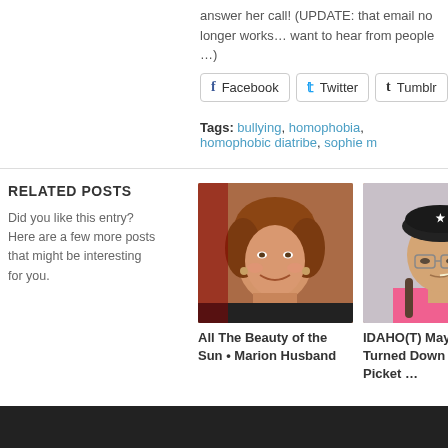answer her call! (UPDATE: that email no longer works … want to hear from people …)
Facebook  Twitter  Tumblr  Pi…
Tags: bullying, homophobia, homophobic diatribe, sophie m…
RELATED POSTS
Did you like this entry? Here are a few more posts that might be interesting for you.
[Figure (photo): Photo of a smiling woman with short auburn hair wearing a black top]
All The Beauty of the Sun • Marion Husband
[Figure (photo): Photo of a person wearing a black beret with a star and glasses, smoking, wearing a pink shirt with a rainbow strap]
IDAHO(T) May 17 – Turned Down At The Picket …